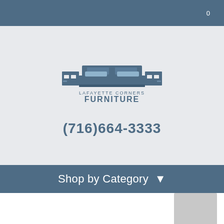0
[Figure (logo): Lafayette Corners Furniture logo with stylized bed/nightstand illustration above the text 'LAFAYETTE CORNERS FURNITURE']
(716)664-3333
Shop by Category ▾
[Figure (illustration): Heart/wishlist icon in a circular button, and a product image placeholder (gray rectangle)]